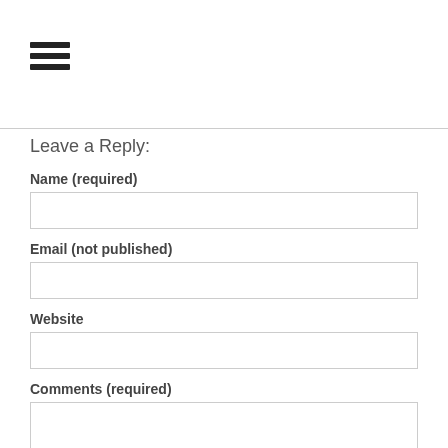[Figure (other): Hamburger menu icon (three horizontal black lines)]
Leave a Reply:
Name (required)
Email (not published)
Website
Comments (required)